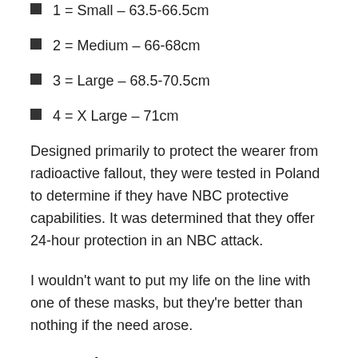1 = Small – 63.5-66.5cm
2 = Medium – 66-68cm
3 = Large – 68.5-70.5cm
4 = X Large – 71cm
Designed primarily to protect the wearer from radioactive fallout, they were tested in Poland to determine if they have NBC protective capabilities. It was determined that they offer 24-hour protection in an NBC attack.
I wouldn't want to put my life on the line with one of these masks, but they're better than nothing if the need arose.
Pros and Cons